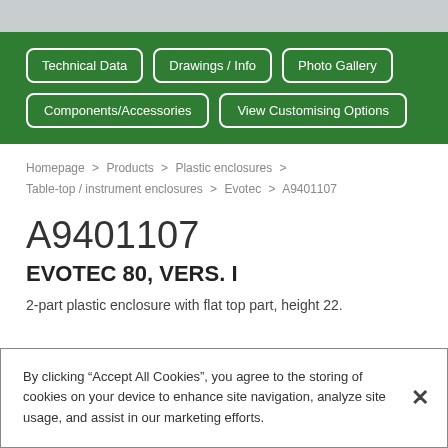[Figure (screenshot): Top gray navigation bar area]
Technical Data
Drawings / Info
Photo Gallery
Components/Accessories
View Customising Options
Homepage > Products > Plastic enclosures > Table-top / instrument enclosures > Evotec > A9401107
A9401107
EVOTEC 80, VERS. I
2-part plastic enclosure with flat top part, height 22.
By clicking “Accept All Cookies”, you agree to the storing of cookies on your device to enhance site navigation, analyze site usage, and assist in our marketing efforts.